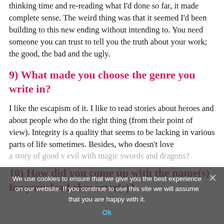thinking time and re-reading what I'd done so far, it made complete sense. The weird thing was that it seemed I'd been building to this new ending without intending to. You need someone you can trust to tell you the truth about your work; the good, the bad and the ugly.
9) What made you choose the genre you write in?
I like the escapism of it. I like to read stories about heroes and about people who do the right thing (from their point of view). Integrity is a quality that seems to be lacking in various parts of life sometimes. Besides, who doesn't love a story of good v evil with magic swords and dragons?
10) How did you come up with the name(s) for your lead character(s)?
We use cookies to ensure that we give you the best experience on our website. If you continue to use this site we will assume that you are happy with it.